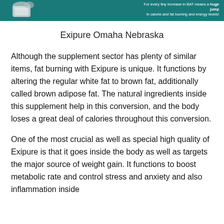[Figure (other): Promotional banner with teal background showing a pill bottle on the left and text on the right: 'For every tiny increase in BAT means a huge jump in calorie and fat burning and energy levels!']
Exipure Omaha Nebraska
Although the supplement sector has plenty of similar items, fat burning with Exipure is unique. It functions by altering the regular white fat to brown fat, additionally called brown adipose fat. The natural ingredients inside this supplement help in this conversion, and the body loses a great deal of calories throughout this conversion.
One of the most crucial as well as special high quality of Exipure is that it goes inside the body as well as targets the major source of weight gain. It functions to boost metabolic rate and control stress and anxiety and also inflammation inside